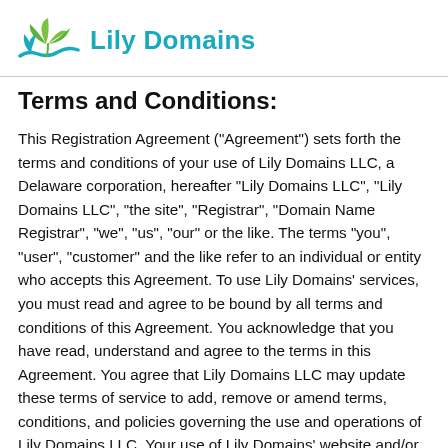[Figure (logo): Lily Domains logo: stylized green and teal leaf/flower with teal wave, next to teal bold text 'Lily Domains']
Terms and Conditions:
This Registration Agreement ("Agreement") sets forth the terms and conditions of your use of Lily Domains LLC, a Delaware corporation, hereafter "Lily Domains LLC", "Lily Domains LLC", "the site", "Registrar", "Domain Name Registrar", "we", "us", "our" or the like. The terms "you", "user", "customer" and the like refer to an individual or entity who accepts this Agreement. To use Lily Domains' services, you must read and agree to be bound by all terms and conditions of this Agreement. You acknowledge that you have read, understand and agree to the terms in this Agreement. You agree that Lily Domains LLC may update these terms of service to add, remove or amend terms, conditions, and policies governing the use and operations of Lily Domains LLC. Your use of Lily Domains' website and/or services after such changes have been made